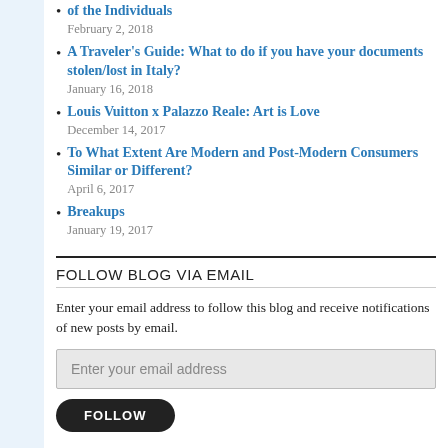of the Individuals
February 2, 2018
A Traveler's Guide: What to do if you have your documents stolen/lost in Italy?
January 16, 2018
Louis Vuitton x Palazzo Reale: Art is Love
December 14, 2017
To What Extent Are Modern and Post-Modern Consumers Similar or Different?
April 6, 2017
Breakups
January 19, 2017
FOLLOW BLOG VIA EMAIL
Enter your email address to follow this blog and receive notifications of new posts by email.
Enter your email address
FOLLOW